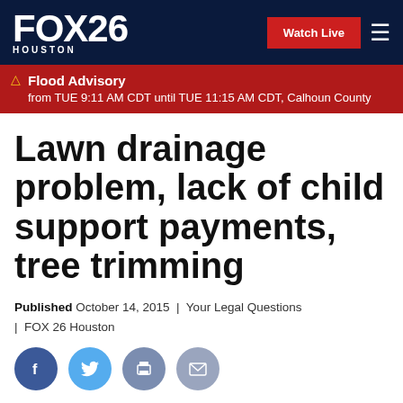FOX 26 HOUSTON | Watch Live
Flood Advisory from TUE 9:11 AM CDT until TUE 11:15 AM CDT, Calhoun County
Lawn drainage problem, lack of child support payments, tree trimming
Published October 14, 2015 | Your Legal Questions | FOX 26 Houston
[Figure (other): Social sharing icons: Facebook, Twitter, Print, Email]